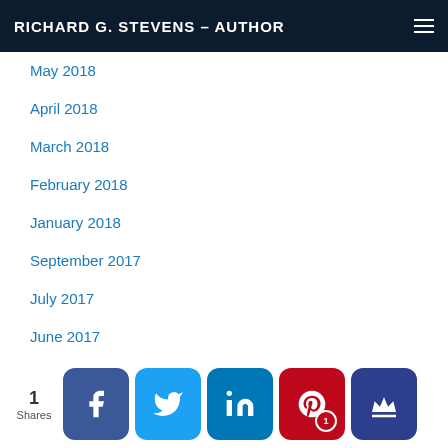RICHARD G. STEVENS – AUTHOR
May 2018
April 2018
March 2018
February 2018
January 2018
September 2017
July 2017
June 2017
April 2017
March 2017
June 2016
May 2016
1 Shares  [Facebook] [Twitter] [LinkedIn] [Pinterest 1] [Crown]